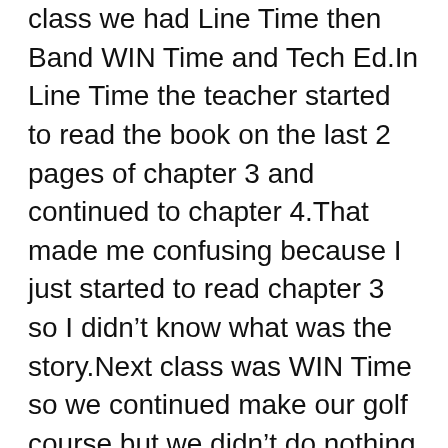class we had Line Time then Band WIN Time and Tech Ed.In Line Time the teacher started to read the book on the last 2 pages of chapter 3 and continued to chapter 4.That made me confusing because I just started to read chapter 3 so I didn't know what was the story.Next class was WIN Time so we continued make our golf course but we didn't do nothing much,we just made a hole and that was one thing that we did today.But in the class today it had something very funny that made us laughed all class,one of our classmates burned himself with a hot glue and he said “ Holy hot” and he ran to the sink near by us.Next in Tech Ed class we continued do our group project and today I done my star,HURRAY.At 3:05 school over so we took the bus home and we were at home around 3:35.Then Cole and I watched the show “Bizarre Foods” until 4:45 the show end and